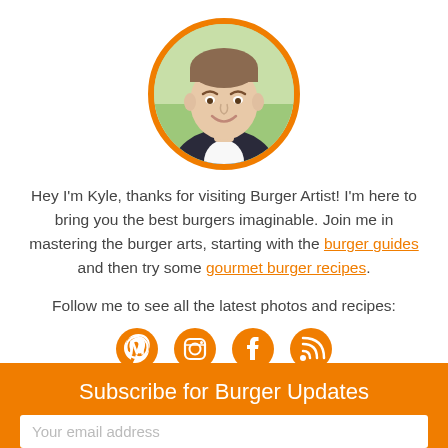[Figure (photo): Circular profile photo of Kyle with orange border, man smiling outdoors with green background]
Hey I'm Kyle, thanks for visiting Burger Artist! I'm here to bring you the best burgers imaginable. Join me in mastering the burger arts, starting with the burger guides and then try some gourmet burger recipes.
Follow me to see all the latest photos and recipes:
[Figure (illustration): Four orange social media icons: Pinterest, Instagram, Facebook, RSS feed]
Subscribe for Burger Updates
Your email address